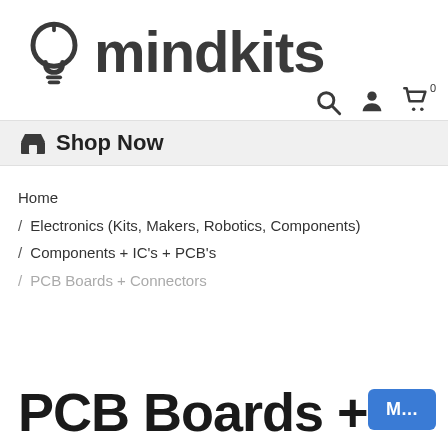[Figure (logo): Mindkits logo with lightbulb icon and 'mindkits' text]
[Figure (infographic): Navigation icons: search, user/account, shopping cart with 0 badge]
Shop Now
Home
/ Electronics (Kits, Makers, Robotics, Components)
/ Components + IC's + PCB's
/ PCB Boards + Connectors
PCB Boards +
M...